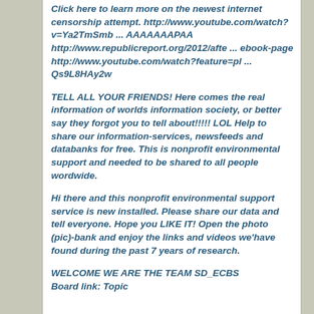Click here to learn more on the newest internet censorship attempt. http://www.youtube.com/watch?v=Ya2TmSmb ... AAAAAAAPAA http://www.republicreport.org/2012/afte ... ebook-page http://www.youtube.com/watch?feature=pl ... Qs9L8HAy2w
TELL ALL YOUR FRIENDS! Here comes the real information of worlds information society, or better say they forgot you to tell about!!!!! LOL Help to share our information-services, newsfeeds and databanks for free. This is nonprofit environmental support and needed to be shared to all people wordwide.
Hi there and this nonprofit environmental support service is new installed. Please share our data and tell everyone. Hope you LIKE IT! Open the photo (pic)-bank and enjoy the links and videos we'have found during the past 7 years of research.
WELCOME WE ARE THE TEAM SD_ECBS Board link: Topic